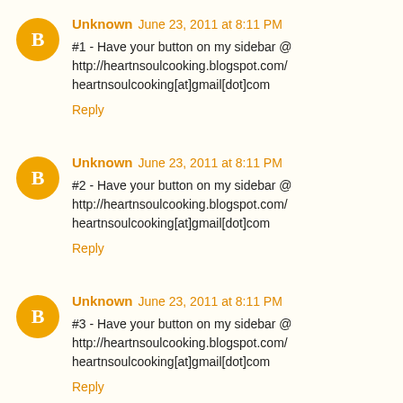Unknown June 23, 2011 at 8:11 PM
#1 - Have your button on my sidebar @ http://heartnsoulcooking.blogspot.com/ heartnsoulcooking[at]gmail[dot]com
Reply
Unknown June 23, 2011 at 8:11 PM
#2 - Have your button on my sidebar @ http://heartnsoulcooking.blogspot.com/ heartnsoulcooking[at]gmail[dot]com
Reply
Unknown June 23, 2011 at 8:11 PM
#3 - Have your button on my sidebar @ http://heartnsoulcooking.blogspot.com/ heartnsoulcooking[at]gmail[dot]com
Reply